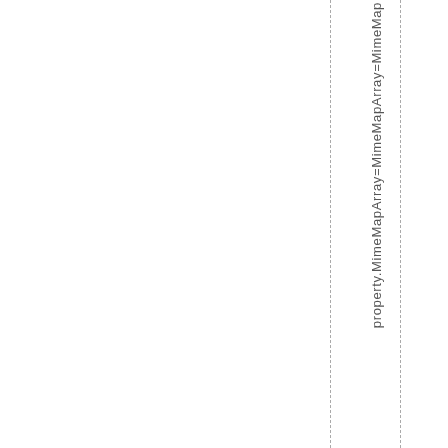property.MimeMapArray=MimeMapArray=MimeMap